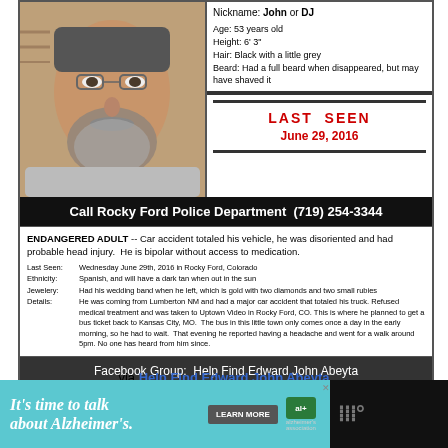[Figure (photo): Photo of middle-aged man with grey beard and glasses]
Nickname: John or DJ
Age: 53 years old
Height: 6' 3"
Hair: Black with a little grey
Beard: Had a full beard when disappeared, but may have shaved it
LAST SEEN
June 29, 2016
Call Rocky Ford Police Department  (719) 254-3344
ENDANGERED ADULT -- Car accident totaled his vehicle, he was disoriented and had probable head injury.  He is bipolar without access to medication.
Last Seen: Wednesday June 29th, 2016 in Rocky Ford, Colorado
Ethnicity: Spanish, and will have a dark tan when out in the sun
Jewelry: Had his wedding band when he left, which is gold with two diamonds and two small rubies
Details: He was coming from Lumberton NM and had a major car accident that totaled his truck. Refused medical treatment and was taken to Uptown Video in Rocky Ford, CO. This is where he planned to get a bus ticket back to Kansas City, MO.  The bus in this little town only comes once a day in the early morning, so he had to wait.  That evening he reported having a headache and went for a walk around 5pm. No one has heard from him since.
Facebook Group:  Help Find Edward John Abeyta
via Help Find Edward John Abeyta
[Figure (infographic): Advertisement banner: It's time to talk about Alzheimer's. LEARN MORE. Alzheimer's Association logo.]